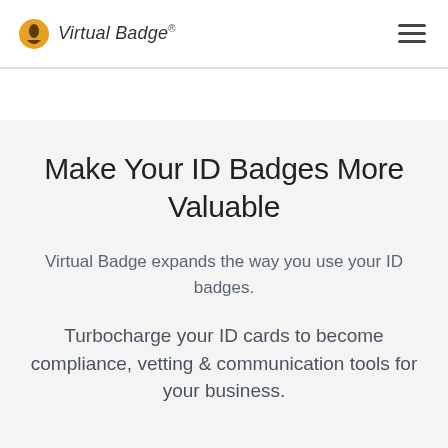Virtual Badge®
Make Your ID Badges More Valuable
Virtual Badge expands the way you use your ID badges.
Turbocharge your ID cards to become compliance, vetting & communication tools for your business.